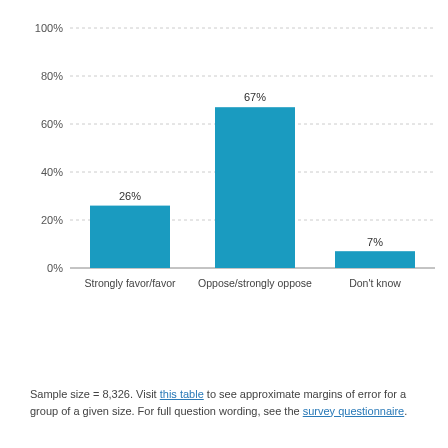[Figure (bar-chart): ]
Sample size = 8,326. Visit this table to see approximate margins of error for a group of a given size. For full question wording, see the survey questionnaire.